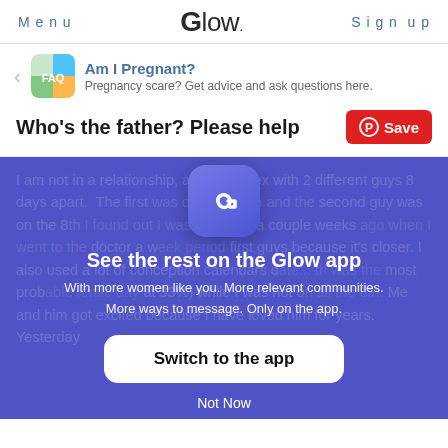Menu | Glow. | Sign up
Am I Pregnant? – Pregnancy scare? Get advice and ask questions here.
Who's the father? Please help
I am not in a relationship, and I had sex with 2 different guys 8 days apart.  The first was on April 30th and the second guy was on the 8th.  I found out I was pregnant a couple weeks ago when I went to the doctor a w... period... first guys because it's closer. I also used a lot of conception calendars... th was the most prob... fertile day at 33%) while I was not o... all the 8th.  Me and him got excited because I have loved him for years. Yesterday
[Figure (screenshot): Glow app modal overlay on blue/purple background prompting user to switch to the Glow app. Contains Glow 'G' icon, text 'See the rest on the Glow app', 'With more women like you. More relevant communities. More ways to message. Only on the app.', a 'Switch to the app' white button, and a 'Not Now' link.]